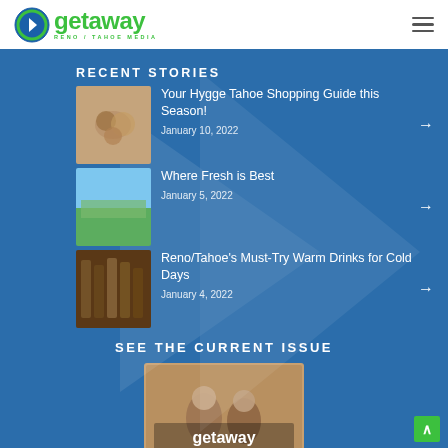[Figure (logo): Getaway Reno/Tahoe Media logo with green text and blue circle icon with arrow]
RECENT STORIES
[Figure (photo): Thumbnail photo of baked goods/donuts]
Your Hygge Tahoe Shopping Guide this Season!
January 10, 2022
[Figure (photo): Thumbnail photo of a green field with mountains]
Where Fresh is Best
January 5, 2022
[Figure (photo): Thumbnail photo of warm drinks / wine bottles]
Reno/Tahoe's Must-Try Warm Drinks for Cold Days
January 4, 2022
SEE THE CURRENT ISSUE
[Figure (photo): Getaway magazine cover showing two people]